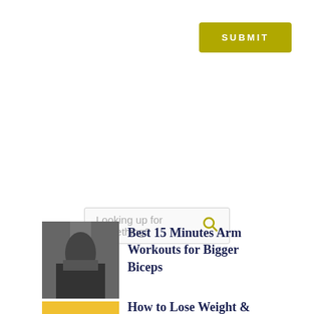SUBMIT
[Figure (screenshot): Search bar with placeholder text 'Looking up for something?' and a yellow-olive search icon on the right]
FEATURED CATEGORY
[Figure (photo): Man doing arm workout in gym]
Best 15 Minutes Arm Workouts for Bigger Biceps
[Figure (infographic): Pink pill-shaped 'Top' button with upward arrow]
How to Lose Weight &